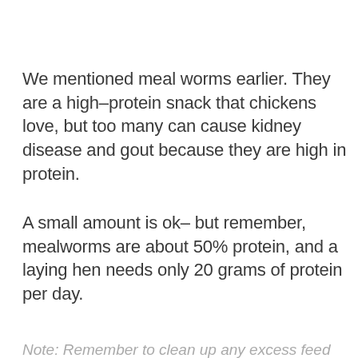We mentioned meal worms earlier. They are a high–protein snack that chickens love, but too many can cause kidney disease and gout because they are high in protein.
A small amount is ok– but remember, mealworms are about 50% protein, and a laying hen needs only 20 grams of protein per day.
Note: Remember to clean up any excess feed and